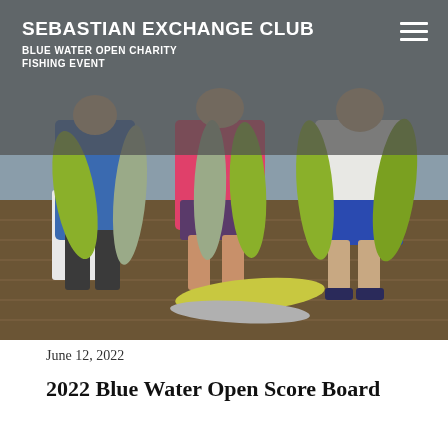SEBASTIAN EXCHANGE CLUB
BLUE WATER OPEN CHARITY FISHING EVENT
[Figure (photo): Three people standing on a wooden dock holding multiple large fish (mahi-mahi and wahoo/king mackerel). Two additional fish are laid on the dock in the foreground. The participants are casually dressed; one wears a pink shirt, one wears a blue shirt, and one wears a white shirt with blue shorts.]
June 12, 2022
2022 Blue Water Open Score Board